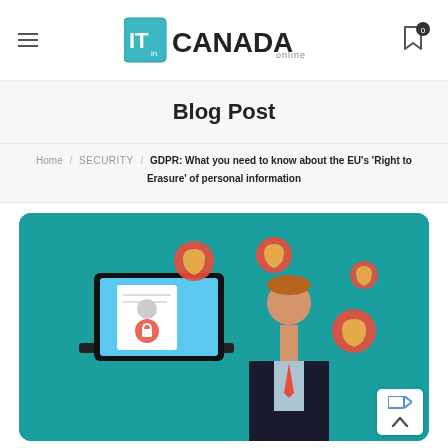IT in Canada Online
Blog Post
Home / SECURITY / GDPR: What you need to know about the EU's 'Right to Erasure' of personal information
[Figure (illustration): Illustration on teal background showing a person in a suit with a laptop displaying a document with privacy/security lock icon, and several pink shield icons floating around the person.]